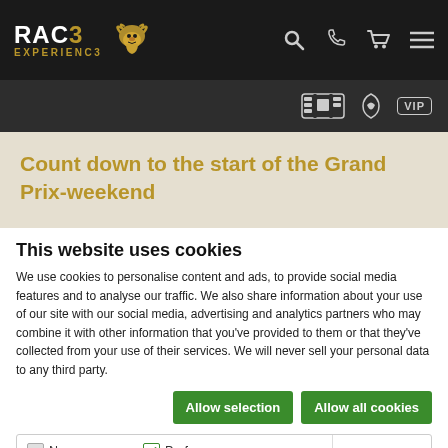RACE EXPERIENCE — navigation bar with logo, search, phone, cart, menu icons
Count down to the start of the Grand Prix-weekend
This website uses cookies
We use cookies to personalise content and ads, to provide social media features and to analyse our traffic. We also share information about your use of our site with our social media, advertising and analytics partners who may combine it with other information that you've provided to them or that they've collected from your use of their services. We will never sell your personal data to any third party.
Allow selection | Allow all cookies
Necessary  Preferences  Statistics  Show details  Marketing